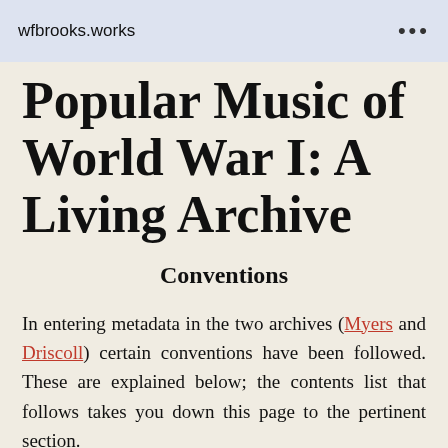wfbrooks.works   ...
Popular Music of World War I: A Living Archive
Conventions
In entering metadata in the two archives (Myers and Driscoll) certain conventions have been followed. These are explained below; the contents list that follows takes you down this page to the pertinent section.
Conventions that apply throughout    Title
Alternative Title    Composer and Lyricist